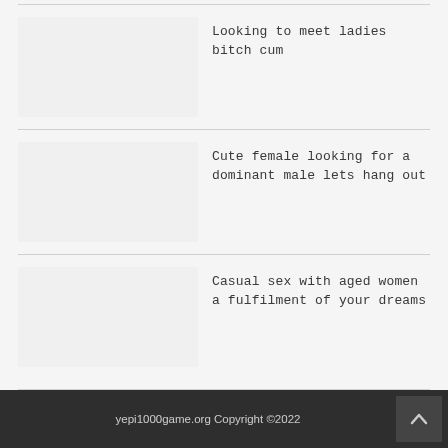Looking to meet ladies bitch cum
Cute female looking for a dominant male lets hang out
Casual sex with aged women a fulfilment of your dreams
yepi1000game.org Copyright ©2022